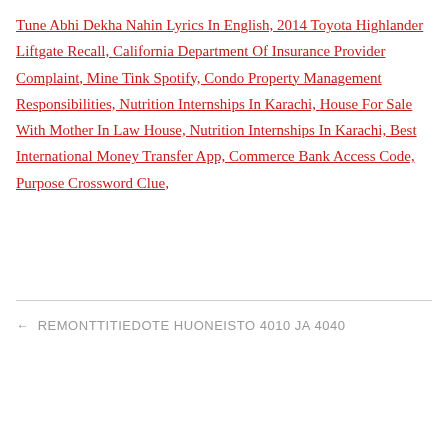Tune Abhi Dekha Nahin Lyrics In English, 2014 Toyota Highlander Liftgate Recall, California Department Of Insurance Provider Complaint, Mine Tink Spotify, Condo Property Management Responsibilities, Nutrition Internships In Karachi, House For Sale With Mother In Law House, Nutrition Internships In Karachi, Best International Money Transfer App, Commerce Bank Access Code, Purpose Crossword Clue,
← REMONTTITIEDOTE HUONEISTO 4010 JA 4040